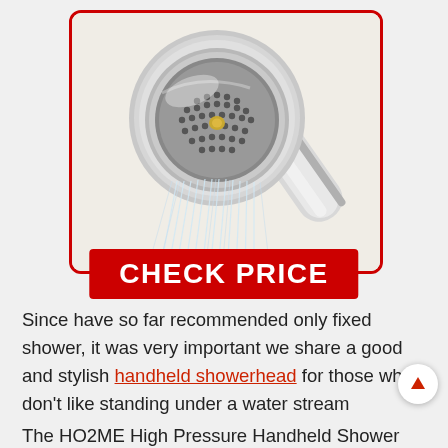[Figure (photo): Chrome handheld showerhead spraying water jets downward, shown against a light beige background inside a red-bordered rounded rectangle box.]
CHECK PRICE
Since have so far recommended only fixed shower, it was very important we share a good and stylish handheld showerhead for those who don't like standing under a water stream
The HO2ME High Pressure Handheld Shower Head is Powerful Shower for everyone